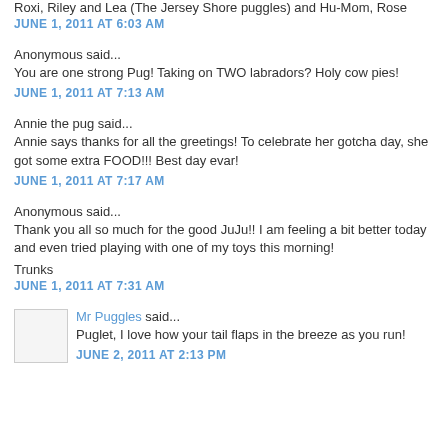Roxi, Riley and Lea (The Jersey Shore puggles) and Hu-Mom, Rose
JUNE 1, 2011 AT 6:03 AM
Anonymous said...
You are one strong Pug! Taking on TWO labradors? Holy cow pies!
JUNE 1, 2011 AT 7:13 AM
Annie the pug said...
Annie says thanks for all the greetings! To celebrate her gotcha day, she got some extra FOOD!!! Best day evar!
JUNE 1, 2011 AT 7:17 AM
Anonymous said...
Thank you all so much for the good JuJu!! I am feeling a bit better today and even tried playing with one of my toys this morning!
Trunks
JUNE 1, 2011 AT 7:31 AM
Mr Puggles said...
Puglet, I love how your tail flaps in the breeze as you run!
JUNE 2, 2011 AT 2:13 PM